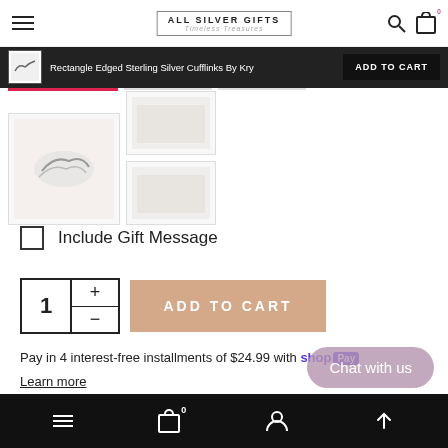ALL SILVER GIFTS — Timeless Treasures
Rectangle Edged Sterling Silver Cufflinks By Kry
ADD TO CART
[Figure (photo): Product thumbnail images of sterling silver cufflinks with tabs showing active and inactive states]
Include Gift Message
1 + - ADD TO CART
Pay in 4 interest-free installments of $24.99 with Shop Pay
Learn more
Chat with us
Bottom navigation bar with menu, cart (0), account, and scroll-to-top icons